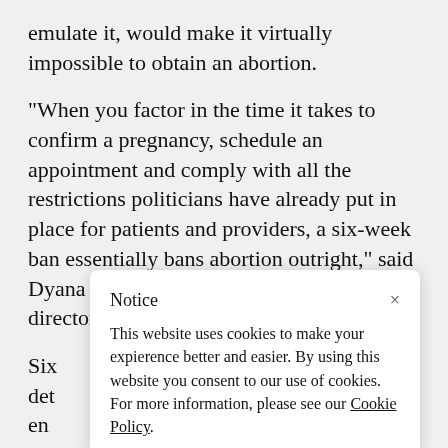emulate it, would make it virtually impossible to obtain an abortion.
"When you factor in the time it takes to confirm a pregnancy, schedule an appointment and comply with all the restrictions politicians have already put in place for patients and providers, a six-week ban essentially bans abortion outright," said Dyana Limon-Mercado, the executive director of Planned Parenthood Texas Votes.
Six [partially obscured] det [partially obscured] en [partially obscured] ap [partially obscured] de [partially obscured] op [partially obscured] wrote the law to do just that.
[Figure (screenshot): Cookie consent notice popup. Title: 'Notice'. Body text: 'This website uses cookies to make your expierence better and easier. By using this website you consent to our use of cookies. For more information, please see our Cookie Policy.' Close button (x) in top right.]